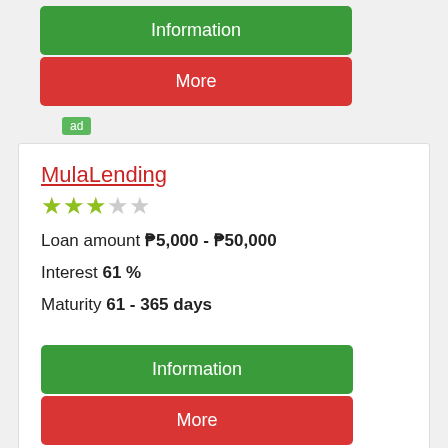[Figure (screenshot): Green Information button]
[Figure (screenshot): Red More button]
ad
MulaLending
[Figure (other): 3 out of 5 star rating]
Loan amount ₱5,000 - ₱50,000
Interest 61 %
Maturity 61 - 365 days
[Figure (screenshot): Green Information button]
[Figure (screenshot): Red More button]
ad